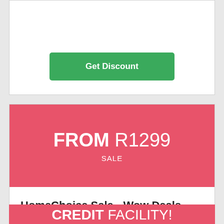Get Discount
FROM R1299
SALE
HomeChoice Sale - Wow Deals - Explore Sitewide From R1299 and Get Free Gifts
Find the latest range of appliances, luggage, furniture, baby & kids and get free gifts such as a free crossbody bag,...
Get Discount
CREDIT FACILITY!
SALE